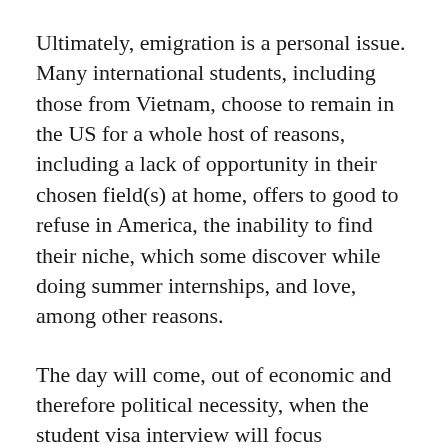Ultimately, emigration is a personal issue. Many international students, including those from Vietnam, choose to remain in the US for a whole host of reasons, including a lack of opportunity in their chosen field(s) at home, offers to good to refuse in America, the inability to find their niche, which some discover while doing summer internships, and love, among other reasons.
The day will come, out of economic and therefore political necessity, when the student visa interview will focus exclusively on 1) the applicant’s status as a “bona fide student;” and 2) her/his ability to pay.